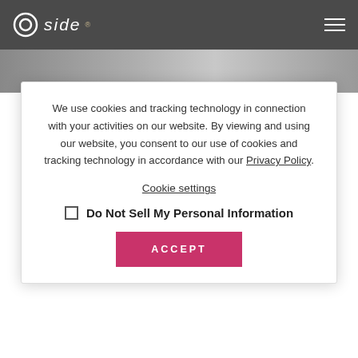side
[Figure (photo): Partial view of a photo strip beneath the header navigation bar]
We use cookies and tracking technology in connection with your activities on our website. By viewing and using our website, you consent to our use of cookies and tracking technology in accordance with our Privacy Policy.
Cookie settings
Do Not Sell My Personal Information
ACCEPT
We were privileged to have our community director of Industry Relations and Strategic Initiatives, join us for a weekly webinar to talk about Pandemic Unemployment Assistance.